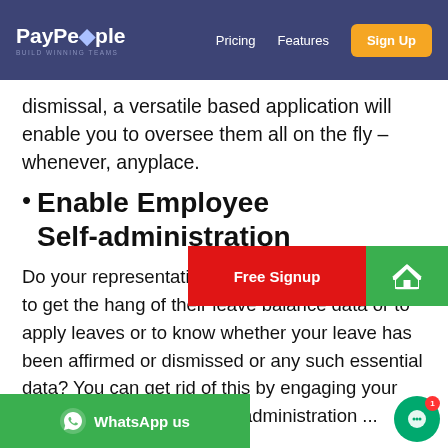PayPeople – Pricing | Features | Sign Up
dismissal, a versatile based application will enable you to oversee them all on the fly – whenever, anyplace.
Enable Employee Self-administration
Do your representatives run from column to post to get the hang of their leave balance data or to apply leaves or to know whether your leave has been affirmed or dismissed or any such essential data? You can get rid of this by engaging your representatives with a self-administration ... administration entry